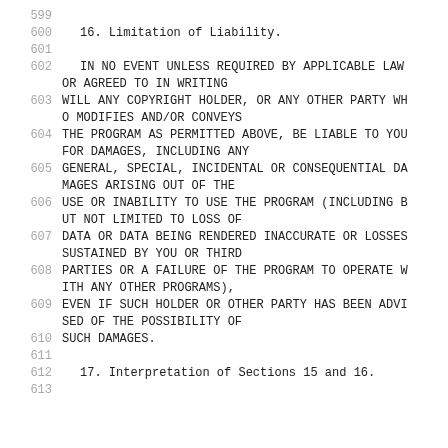599
600    16. Limitation of Liability.
601
602    IN NO EVENT UNLESS REQUIRED BY APPLICABLE LAW OR AGREED TO IN WRITING
603   WILL ANY COPYRIGHT HOLDER, OR ANY OTHER PARTY WHO MODIFIES AND/OR CONVEYS
604   THE PROGRAM AS PERMITTED ABOVE, BE LIABLE TO YOU FOR DAMAGES, INCLUDING ANY
605   GENERAL, SPECIAL, INCIDENTAL OR CONSEQUENTIAL DAMAGES ARISING OUT OF THE
606   USE OR INABILITY TO USE THE PROGRAM (INCLUDING BUT NOT LIMITED TO LOSS OF
607   DATA OR DATA BEING RENDERED INACCURATE OR LOSSES SUSTAINED BY YOU OR THIRD
608   PARTIES OR A FAILURE OF THE PROGRAM TO OPERATE WITH ANY OTHER PROGRAMS),
609   EVEN IF SUCH HOLDER OR OTHER PARTY HAS BEEN ADVISED OF THE POSSIBILITY OF
610   SUCH DAMAGES.
611
612    17. Interpretation of Sections 15 and 16.
613